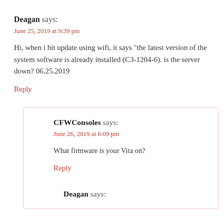Deagan says:
June 25, 2019 at 9:39 pm
Hi, when i hit update using wifi, it says "the latest version of the system software is already installed (C3-1204-6). is the server down? 06.25.2019
Reply
CFWConsoles says:
June 26, 2019 at 6:09 pm
What firmware is your Vita on?
Reply
Deagan says: